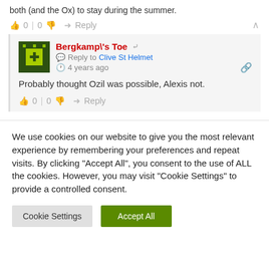both (and the Ox) to stay during the summer.
👍 0 | 0 👎  ➜ Reply  ∧
Bergkamp\'s Toe  🔗  Reply to Clive St Helmet  ⏱ 4 years ago  Probably thought Ozil was possible, Alexis not.  👍 0 | 0 👎  ➜ Reply
We use cookies on our website to give you the most relevant experience by remembering your preferences and repeat visits. By clicking "Accept All", you consent to the use of ALL the cookies. However, you may visit "Cookie Settings" to provide a controlled consent.
Cookie Settings   Accept All